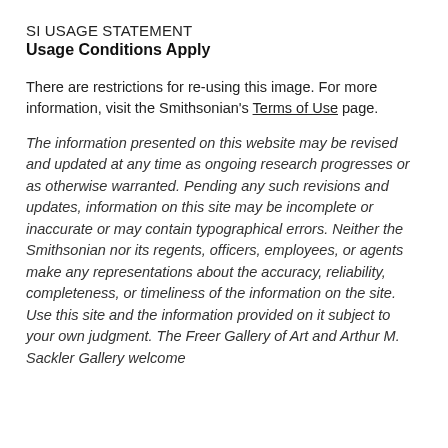SI USAGE STATEMENT
Usage Conditions Apply
There are restrictions for re-using this image. For more information, visit the Smithsonian's Terms of Use page.
The information presented on this website may be revised and updated at any time as ongoing research progresses or as otherwise warranted. Pending any such revisions and updates, information on this site may be incomplete or inaccurate or may contain typographical errors. Neither the Smithsonian nor its regents, officers, employees, or agents make any representations about the accuracy, reliability, completeness, or timeliness of the information on the site. Use this site and the information provided on it subject to your own judgment. The Freer Gallery of Art and Arthur M. Sackler Gallery welcome